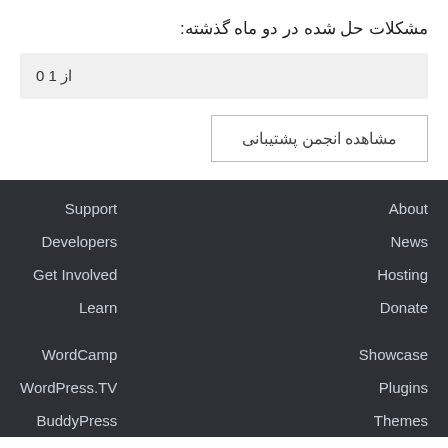مشکلات حل شده در دو ماه گذشته:
0 از 1
مشاهده انجمن پشتیبانی
Support
Developers
Get Involved
Learn
WordCamp
WordPress.TV
BuddyPress
About
News
Hosting
Donate
Showcase
Plugins
Themes